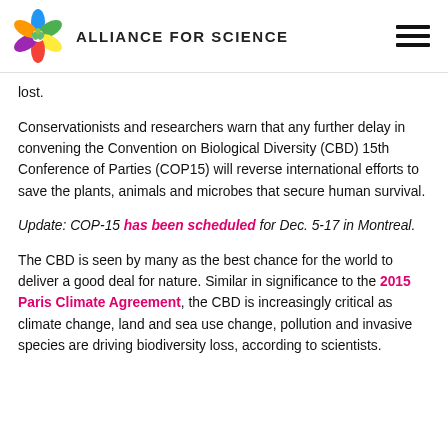ALLIANCE FOR SCIENCE
lost.
Conservationists and researchers warn that any further delay in convening the Convention on Biological Diversity (CBD) 15th Conference of Parties (COP15) will reverse international efforts to save the plants, animals and microbes that secure human survival.
Update: COP-15 has been scheduled for Dec. 5-17 in Montreal.
The CBD is seen by many as the best chance for the world to deliver a good deal for nature. Similar in significance to the 2015 Paris Climate Agreement, the CBD is increasingly critical as climate change, land and sea use change, pollution and invasive species are driving biodiversity loss, according to scientists.